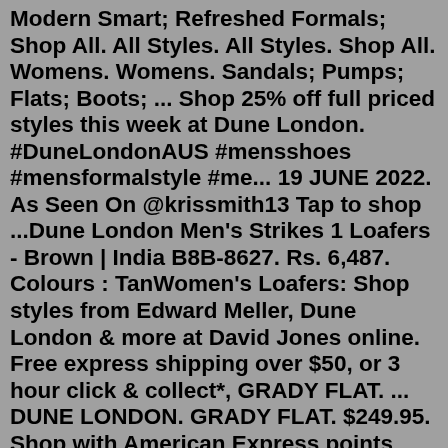Modern Smart; Refreshed Formals; Shop All. All Styles. All Styles. Shop All. Womens. Womens. Sandals; Pumps; Flats; Boots; ... Shop 25% off full priced styles this week at Dune London. #DuneLondonAUS #mensshoes #mensformalstyle #me... 19 JUNE 2022. As Seen On @krissmith13 Tap to shop ...Dune London Men's Strikes 1 Loafers - Brown | India B8B-8627. Rs. 6,487. Colours : TanWomen's Loafers: Shop styles from Edward Meller, Dune London & more at David Jones online. Free express shipping over $50, or 3 hour click & collect*, GRADY FLAT. ... DUNE LONDON. GRADY FLAT. $249.95. Shop with American Express points from 37,493. or pay over time with Afterpay.Wider Fit. Add to Bag. Glowin - Black Dune London Wider Fit Backless Loafers. 99.00$. 2 Colours. Add to Bag. Gallagher - Cream Dune London Chunky Sole Loafers. 125.00$. 3 Colours. Update your daytime edit with this loafer from Dune London. In a classic slip on design, it's shaped with a sleek almond toe. A tassel detail and comfy flat sole